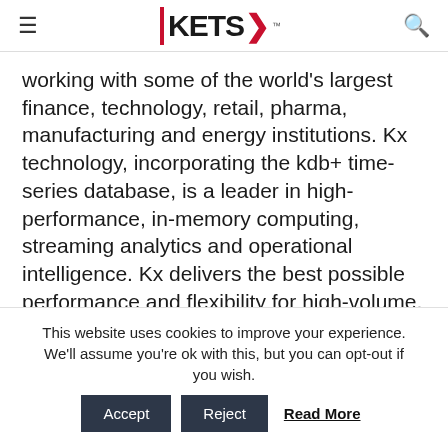KETS
working with some of the world's largest finance, technology, retail, pharma, manufacturing and energy institutions. Kx technology, incorporating the kdb+ time-series database, is a leader in high-performance, in-memory computing, streaming analytics and operational intelligence. Kx delivers the best possible performance and flexibility for high-volume, data-intensive analytics and applications across multiple industries. The Group operates from 14 offices across Europe, North America and Asia Pacific, including its headquarters in Newry, and
This website uses cookies to improve your experience. We'll assume you're ok with this, but you can opt-out if you wish. Accept Reject Read More